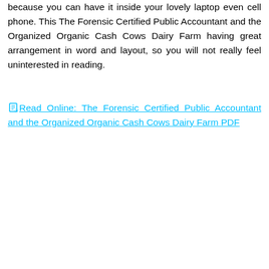because you can have it inside your lovely laptop even cell phone. This The Forensic Certified Public Accountant and the Organized Organic Cash Cows Dairy Farm having great arrangement in word and layout, so you will not really feel uninterested in reading.
Read Online: The Forensic Certified Public Accountant and the Organized Organic Cash Cows Dairy Farm PDF